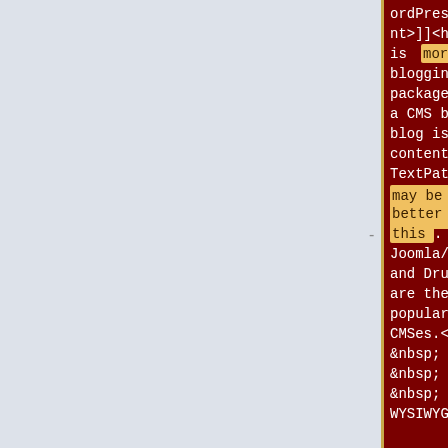[Figure (screenshot): Side-by-side diff view of two code/text columns on dark red background. Left column shows text with highlighted spans (orange): 'more of a', 'and', 'may be better', 'this'. Right column shows text with highlighted spans (blue): '(2013-Q2)', 'rather', 'general purpose', 'it or', 'are great for brochure sites'. Both columns contain wiki/CMS comparison text about WordPress, Joomla/Mambo, Drupal, TextPattern.]